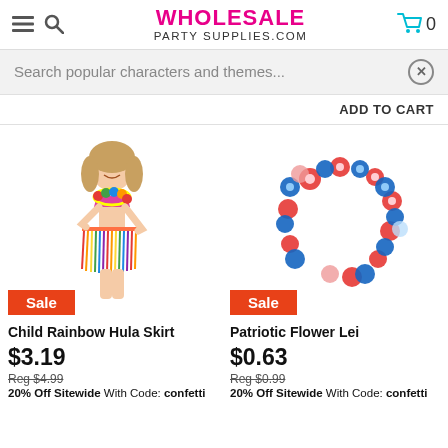WHOLESALE PARTY SUPPLIES.COM
Search popular characters and themes...
ADD TO CART
[Figure (photo): Child wearing a rainbow hula skirt costume with colorful lei and pink bikini top. Orange 'Sale' badge at bottom left.]
Child Rainbow Hula Skirt
$3.19
Reg $4.99
20% Off Sitewide With Code: confetti
[Figure (photo): Red, white, and blue patriotic flower lei. Orange 'Sale' badge at bottom left.]
Patriotic Flower Lei
$0.63
Reg $0.99
20% Off Sitewide With Code: confetti